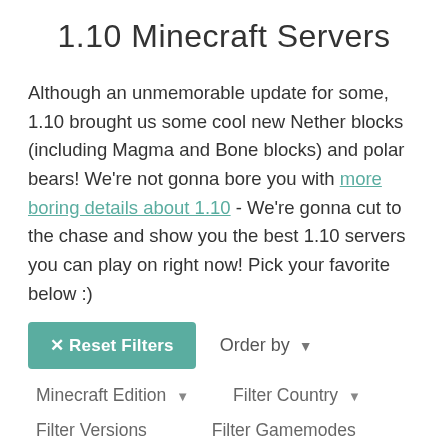1.10 Minecraft Servers
Although an unmemorable update for some, 1.10 brought us some cool new Nether blocks (including Magma and Bone blocks) and polar bears! We're not gonna bore you with more boring details about 1.10 - We're gonna cut to the chase and show you the best 1.10 servers you can play on right now! Pick your favorite below :)
× Reset Filters   Order by ▼
Minecraft Edition ▼   Filter Country ▼
Filter Versions ▼   Filter Gamemodes ▼
Sort by...